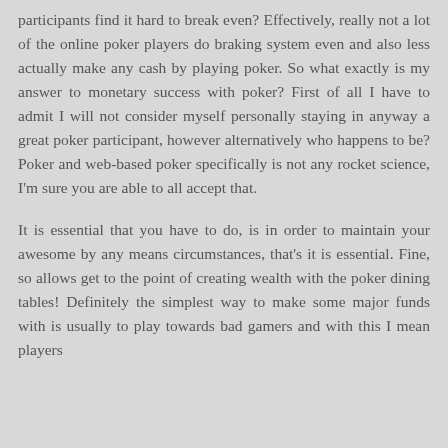participants find it hard to break even? Effectively, really not a lot of the online poker players do braking system even and also less actually make any cash by playing poker. So what exactly is my answer to monetary success with poker? First of all I have to admit I will not consider myself personally staying in anyway a great poker participant, however alternatively who happens to be? Poker and web-based poker specifically is not any rocket science, I'm sure you are able to all accept that.
It is essential that you have to do, is in order to maintain your awesome by any means circumstances, that's it is essential. Fine, so allows get to the point of creating wealth with the poker dining tables! Definitely the simplest way to make some major funds with is usually to play towards bad gamers and with this I mean players